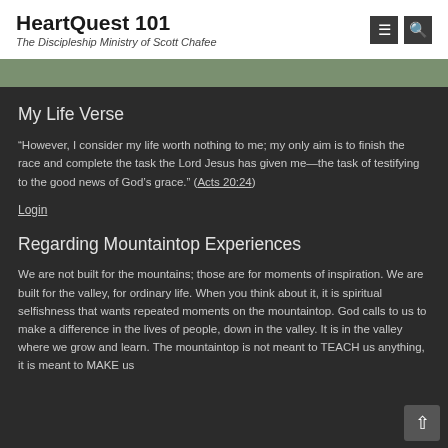HeartQuest 101 — The Discipleship Ministry of Scott Chafee
My Life Verse
“However, I consider my life worth nothing to me; my only aim is to finish the race and complete the task the Lord Jesus has given me—the task of testifying to the good news of God’s grace.” (Acts 20:24)
Login
Regarding Mountaintop Experiences
We are not built for the mountains; those are for moments of inspiration. We are built for the valley, for ordinary life. When you think about it, it is spiritual selfishness that wants repeated moments on the mountaintop. God calls to us to make a difference in the lives of people, down in the valley. It is in the valley where we grow and learn. The mountaintop is not meant to TEACH us anything, it is meant to MAKE us